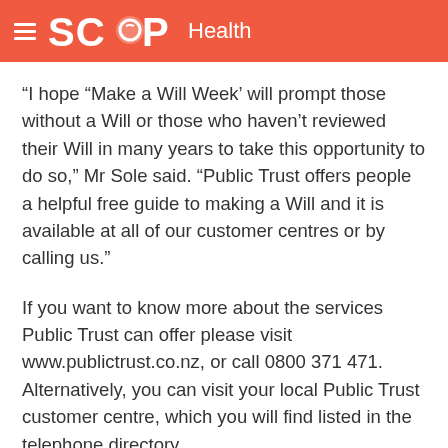SCOOP Health
“I hope “Make a Will Week’ will prompt those without a Will or those who haven’t reviewed their Will in many years to take this opportunity to do so,” Mr Sole said. “Public Trust offers people a helpful free guide to making a Will and it is available at all of our customer centres or by calling us.”
If you want to know more about the services Public Trust can offer please visit www.publictrust.co.nz, or call 0800 371 471. Alternatively, you can visit your local Public Trust customer centre, which you will find listed in the telephone directory.